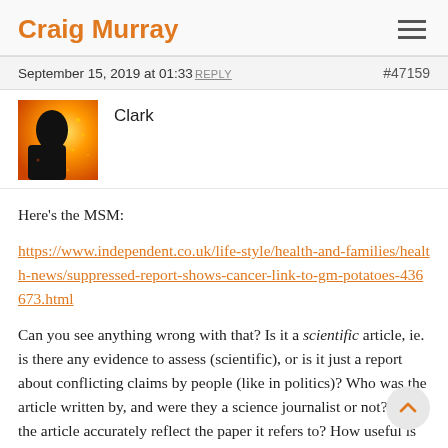Craig Murray
September 15, 2019 at 01:33 REPLY  #47159
Clark
Here's the MSM:
https://www.independent.co.uk/life-style/health-and-families/health-news/suppressed-report-shows-cancer-link-to-gm-potatoes-436673.html
Can you see anything wrong with that? Is it a scientific article, ie. is there any evidence to assess (scientific), or is it just a report about conflicting claims by people (like in politics)? Who was the article written by, and were they a science journalist or not? Does the article accurately reflect the paper it refers to? How useful is the content described in the original document?